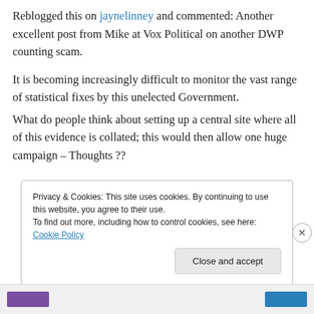Reblogged this on jaynelinney and commented: Another excellent post from Mike at Vox Political on another DWP counting scam.

It is becoming increasingly difficult to monitor the vast range of statistical fixes by this unelected Government.
What do people think about setting up a central site where all of this evidence is collated; this would then allow one huge campaign – Thoughts ??
Privacy & Cookies: This site uses cookies. By continuing to use this website, you agree to their use.
To find out more, including how to control cookies, see here: Cookie Policy
Close and accept